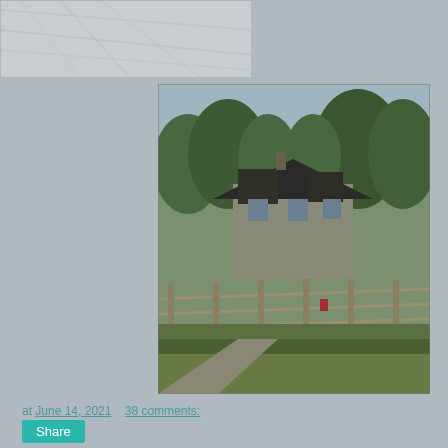[Figure (photo): Partial photo of fabric or cloth, light grey/blue tones, top-left area]
[Figure (photo): Photo of a farmhouse or rural building with a dark metal roof, surrounded by trees, with a wooden fence in the foreground and green grass]
at June 14, 2021    38 comments:
Share
SATURDAY, JUNE 5, 2021
Celia's 5th Birthday
May 22 – May 25, 2021
Most Recent Posts:
Reisterstown Maryland
Spring